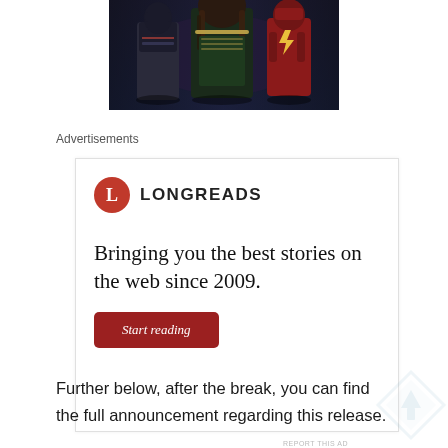[Figure (photo): Movie promotional image showing several superhero characters in dark costumes against a dark background]
Advertisements
[Figure (infographic): Longreads advertisement with red circular L logo, brand name LONGREADS, tagline 'Bringing you the best stories on the web since 2009.' and a red 'Start reading' button]
Further below, after the break, you can find the full announcement regarding this release.